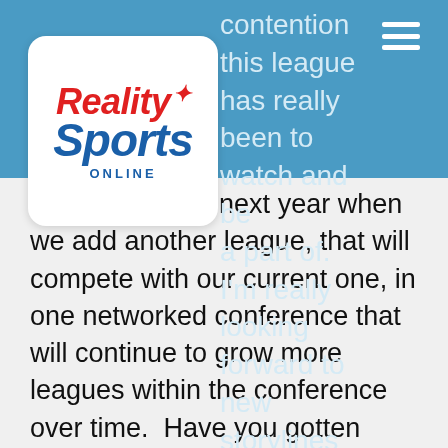[Figure (logo): Reality Sports Online logo — red italic 'Reality', blue italic 'Sports', blue 'ONLINE' text in white rounded box]
contention this league has really been to watch and be a part of.  I'm really looking forward to new storylines that we will develop next year when we add another league, that will compete with our current one, in one networked conference that will continue to grow more leagues within the conference over time.  Have you gotten your name on the waiting list yet?  It's currently free and requires no commitment.  It does ensure you will be in-the-know as the league starts to come together so that if the timing is right and you are ready to make the jump, the